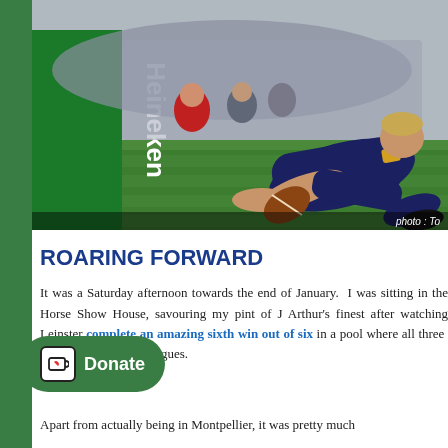[Figure (photo): Rugby player in dark navy Leinster jersey sliding on grass to score a try, with a green Heineken advertising board in the background. Photo credit partially visible: 'photo: To...']
ROARING FORWARD
It was a Saturday afternoon towards the end of January. I was sitting in the Horse Show House, savouring my pint of J Arthur's finest after watching Leinster complete an amazing sixth win out of six in a pool where all three [teams] topped their domestic leagues.
Apart from actually being in Montpellier, it was pretty much the...